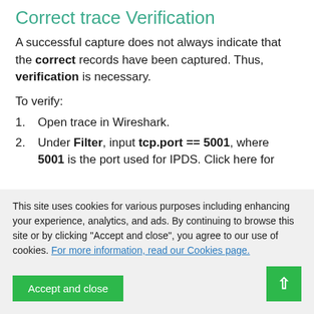Correct trace Verification
A successful capture does not always indicate that the correct records have been captured. Thus, verification is necessary.
To verify:
1. Open trace in Wireshark.
2. Under Filter, input tcp.port == 5001, where 5001 is the port used for IPDS. Click here for
This site uses cookies for various purposes including enhancing your experience, analytics, and ads. By continuing to browse this site or by clicking "Accept and close", you agree to our use of cookies. For more information, read our Cookies page.